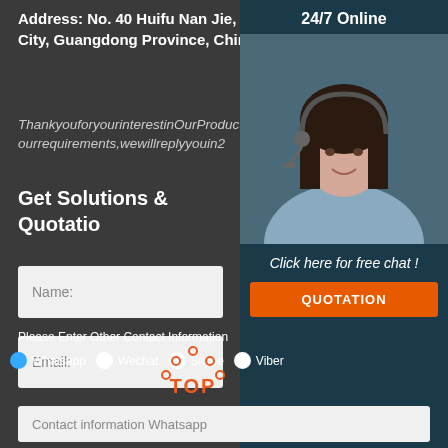Address: No. 40 Huifu Nan Jie, Yangxi County, Yangjiang City, Guangdong Province, China
ThankyouforyourinterestinOurProducts. ourrequirements,wewillreplyyouin2
Get Solutions & Quotatio
Name:
Email:
[Figure (photo): Customer service agent with headset, 24/7 Online chat widget with Click here for free chat and QUOTATION button]
Please Enter Other Contact Information
Whatsapp
Wechat
Skype
Viber
[Figure (logo): TOP logo with orange arc dots and orange bold TOP text]
Contact information Whatsapp